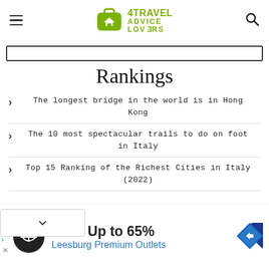4TRAVEL ADVICE LOVERS
Rankings
The longest bridge in the world is in Hong Kong
The 10 most spectacular trails to do on foot in Italy
Top 15 Ranking of the Richest Cities in Italy (2022)
[Figure (other): Advertisement banner: Save Up to 65% Leesburg Premium Outlets with navigation icon]